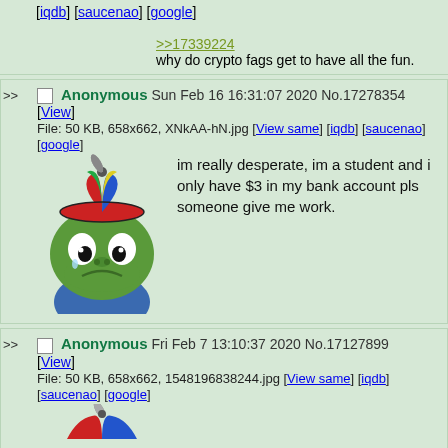[iqdb] [saucenao] [google]
>>17339224
why do crypto fags get to have all the fun.
>> Anonymous Sun Feb 16 16:31:07 2020 No.17278354
[View]
File: 50 KB, 658x662, XNkAA-hN.jpg [View same] [iqdb] [saucenao] [google]
im really desperate, im a student and i only have $3 in my bank account pls someone give me work.
[Figure (illustration): Pepe the Frog wearing a colorful propeller beanie hat, sad expression, blue shirt]
>> Anonymous Fri Feb 7 13:10:37 2020 No.17127899
[View]
File: 50 KB, 658x662, 1548196838244.jpg [View same] [iqdb] [saucenao] [google]
[Figure (illustration): Partially visible Pepe the Frog with propeller hat at bottom of page]